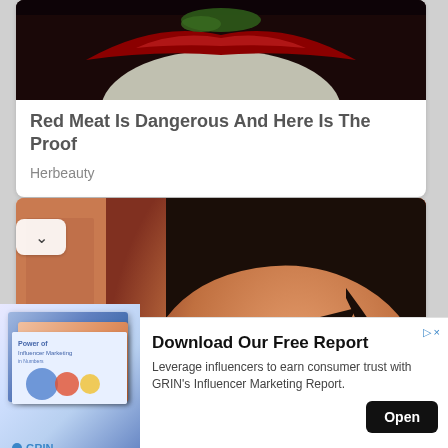[Figure (photo): Close-up photo of a person's mouth with red lips and dark green/black elements, cropped at top of a content card]
Red Meat Is Dangerous And Here Is The Proof
Herbeauty
[Figure (photo): Portrait photo of a young woman with dark hair and bangs, resting her chin near her shoulder, wearing small lock earrings, warm orange/peach toned background]
[Figure (other): Advertisement banner: Download Our Free Report. Leverage influencers to earn consumer trust with GRIN's Influencer Marketing Report. GRIN logo and Open button.]